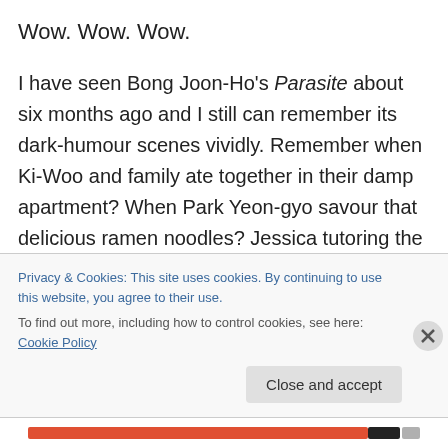Wow. Wow. Wow.
I have seen Bong Joon-Ho's Parasite about six months ago and I still can remember its dark-humour scenes vividly. Remember when Ki-Woo and family ate together in their damp apartment? When Park Yeon-gyo savour that delicious ramen noodles? Jessica tutoring the kid? Or when the family has to hide underneath the table when the Park's return? Parasite is a testament that not every masterpiece should/would derived from Hollywood and that's a very exciting thing.
Privacy & Cookies: This site uses cookies. By continuing to use this website, you agree to their use.
To find out more, including how to control cookies, see here: Cookie Policy
Close and accept